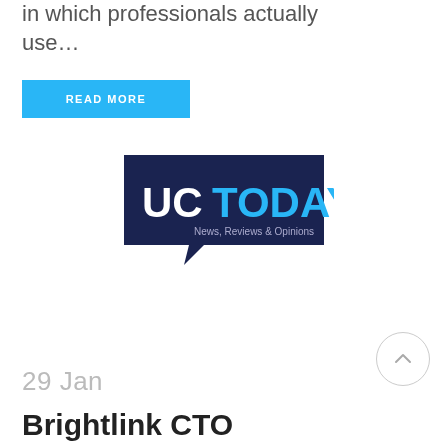in which professionals actually use…
READ MORE
[Figure (logo): UC TODAY logo — dark navy speech-bubble shape with white text 'UC' and blue text 'TODAY', subtitle 'News, Reviews & Opinions']
29 Jan
Brightlink CTO